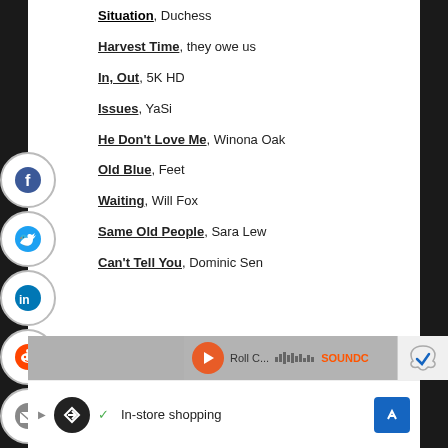Situation, Duchess
Harvest Time, they owe us
In, Out, 5K HD
Issues, YaSi
He Don't Love Me, Winona Oak
Old Blue, Feet
Waiting, Will Fox
Same Old People, Sara Lew
Can't Tell You, Dominic Sen